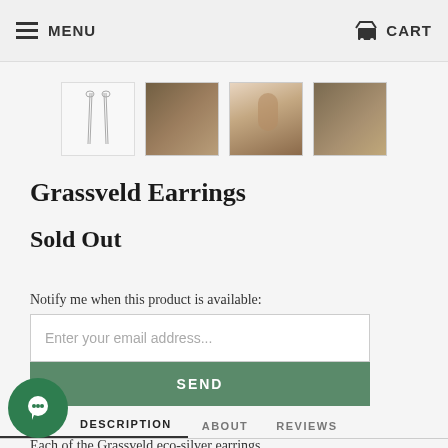MENU  CART
[Figure (photo): Four product thumbnails: line sketch of earrings, dark bowl with silver, woman's ear with earring, bowl with plants]
Grassveld Earrings
Sold Out
Notify me when this product is available:
Enter your email address...
SEND
DESCRIPTION  ABOUT  REVIEWS
Each of the Grassveld eco-silver earrings